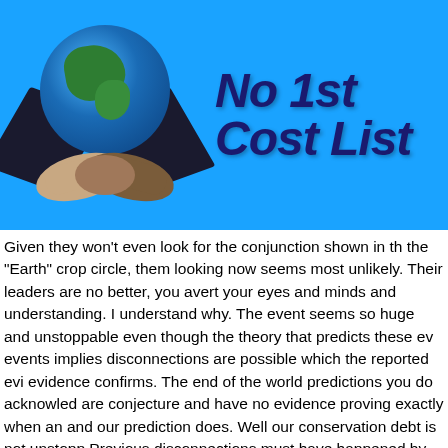[Figure (logo): No 1st Cost List logo featuring a globe with handshake and open books/laptops on a blue background, with large bold italic text 'No 1st Cost List']
Given they won't even look for the conjunction shown in the "Earth" crop circle, them looking now seems most unlikely. Their leaders are no better, you avert your eyes and minds and understanding. I understand why. The event seems so huge and unstoppable even though the theory that predicts these events implies disconnections are possible which the reported evidence confirms. The end of the world predictions you do acknowledge are conjecture and have no evidence proving exactly when and our prediction does. Well our conservation debt is not unstoppable. Previous disconnections must have happened by the fact our debt is so large and that Long Term Gamma Blasters frequency grows with duration. Disconnections of A-M debts are the only way our geometry can grow. I don't know what the rest of you will do, one thing I do know for sure is that this is my last attempt at a m